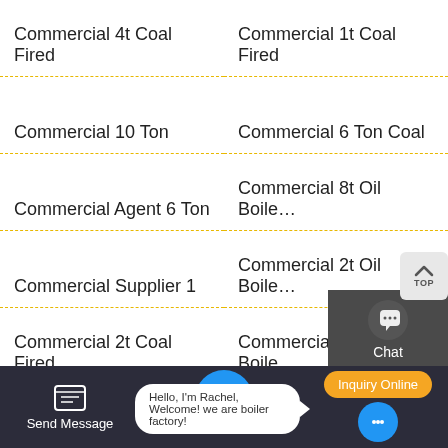Commercial 4t Coal Fired
Commercial 1t Coal Fired
Commercial 10 Ton
Commercial 6 Ton Coal
Commercial Agent 6 Ton
Commercial 8t Oil Boile...
Commercial Supplier 1
Commercial 2t Oil Boile...
Commercial 2t Coal Fired
Commercial Seller Boile...
Commercial 10 Ton Gas
Commercial 2 Ton Diesel
[Figure (screenshot): Sidebar widget with Chat, Email, and Contact icons on dark background]
[Figure (screenshot): Footer bar with Send Message, chat bubble, message box saying Hello I'm Rachel Welcome we are boiler factory, and Inquiry Online button]